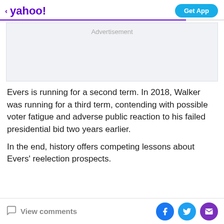< yahoo!  Get App
[Figure (other): Advertisement placeholder box]
Evers is running for a second term. In 2018, Walker was running for a third term, contending with possible voter fatigue and adverse public reaction to his failed presidential bid two years earlier.
In the end, history offers competing lessons about Evers' reelection prospects.
View comments  [Facebook] [Twitter] [Email]